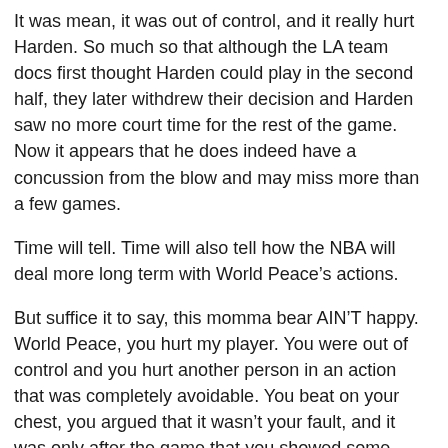It was mean, it was out of control, and it really hurt Harden.  So much so that although the LA team docs first thought Harden could play in the second half, they later withdrew their decision and Harden saw no more court time for the rest of the game.  Now it appears that he does indeed have a concussion from the blow and may miss more than a few games.
Time will tell.  Time will also tell how the NBA will deal more long term with World Peace’s actions.
But suffice it to say, this momma bear AIN’T happy.  World Peace, you hurt my player.  You were out of control and you hurt another person in an action that was completely avoidable.  You beat on your chest, you argued that it wasn’t your fault, and it was only after the game that you showed some degree of contrition.
I’m mad at you, World Peace.  You need to do better, or you need to stay off the court.